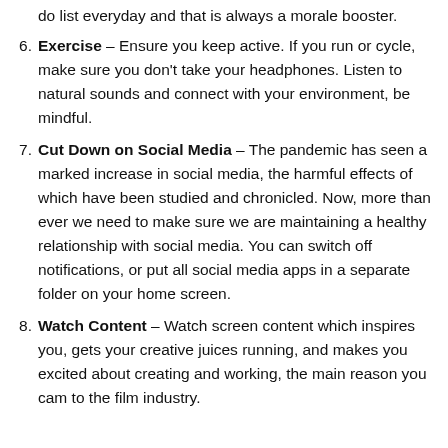do list everyday and that is always a morale booster.
Exercise – Ensure you keep active. If you run or cycle, make sure you don't take your headphones. Listen to natural sounds and connect with your environment, be mindful.
Cut Down on Social Media – The pandemic has seen a marked increase in social media, the harmful effects of which have been studied and chronicled. Now, more than ever we need to make sure we are maintaining a healthy relationship with social media. You can switch off notifications, or put all social media apps in a separate folder on your home screen.
Watch Content – Watch screen content which inspires you, gets your creative juices running, and makes you excited about creating and working, the main reason you cam to the film industry.